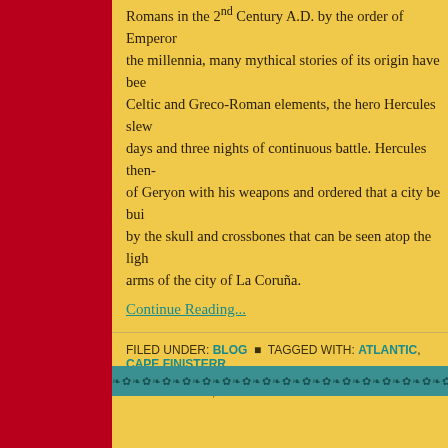Romans in the 2nd Century A.D. by the order of Emperor... the millennia, many mythical stories of its origin have been... Celtic and Greco-Roman elements, the hero Hercules slew... days and three nights of continuous battle. Hercules then... of Geryon with his weapons and ordered that a city be bui... by the skull and crossbones that can be seen atop the ligh... arms of the city of La Coruña.
Continue Reading...
FILED UNDER: BLOG ▪ TAGGED WITH: ATLANTIC, CAPE FINISTERRE, JOURNEY, LA CORUÑA, MARIA PITA, SPAIN, TOWER OF HERCULES,